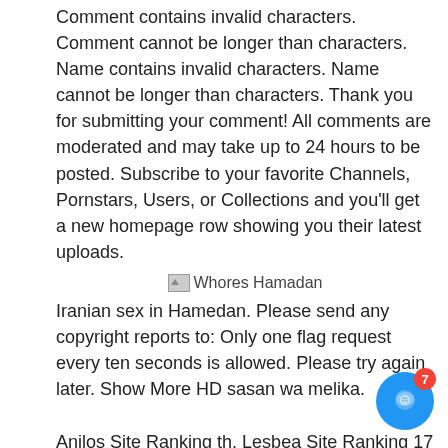Comment contains invalid characters. Comment cannot be longer than characters. Name contains invalid characters. Name cannot be longer than characters. Thank you for submitting your comment! All comments are moderated and may take up to 24 hours to be posted. Subscribe to your favorite Channels, Pornstars, Users, or Collections and you'll get a new homepage row showing you their latest uploads.
[Figure (other): Broken image placeholder with label 'Whores Hamadan']
Iranian sex in Hamedan. Please send any copyright reports to: Only one flag request every ten seconds is allowed. Please try again later. Show More HD sasan wa melika.
Anilos Site Ranking th. Lesbea Site Ranking 17 th. My Pervy Family Site Ranking 83 rd. Please enter a comment. Please enter your name. Sorry, could not submit your comment. Login Signup. Signup Login Or Admin.
[Figure (other): Broken image placeholder with label 'Whores in Hamadan']